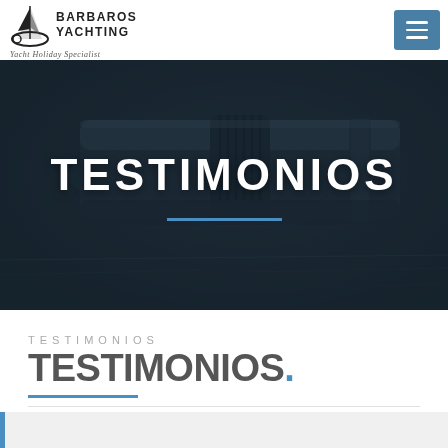BARBAROS YACHTING – Yacht Holiday Specialist
[Figure (photo): Close-up dark background image of a fountain pen nib on paper with blue-grey tones, used as hero banner image]
TESTIMONIOS
TESTIMONIOS
TESTIMONIOS.